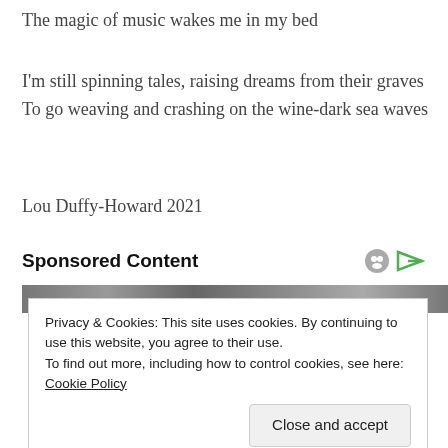The magic of music wakes me in my bed
I'm still spinning tales, raising dreams from their graves
To go weaving and crashing on the wine-dark sea waves
Lou Duffy-Howard 2021
Sponsored Content
Privacy & Cookies: This site uses cookies. By continuing to use this website, you agree to their use.
To find out more, including how to control cookies, see here: Cookie Policy
Close and accept